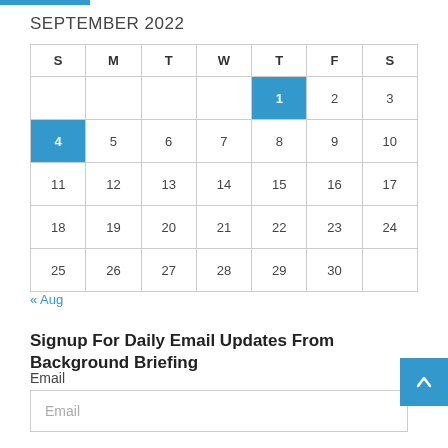SEPTEMBER 2022
| S | M | T | W | T | F | S |
| --- | --- | --- | --- | --- | --- | --- |
|  |  |  |  | 1 | 2 | 3 |
| 4 | 5 | 6 | 7 | 8 | 9 | 10 |
| 11 | 12 | 13 | 14 | 15 | 16 | 17 |
| 18 | 19 | 20 | 21 | 22 | 23 | 24 |
| 25 | 26 | 27 | 28 | 29 | 30 |  |
« Aug
Signup For Daily Email Updates From Background Briefing
Email